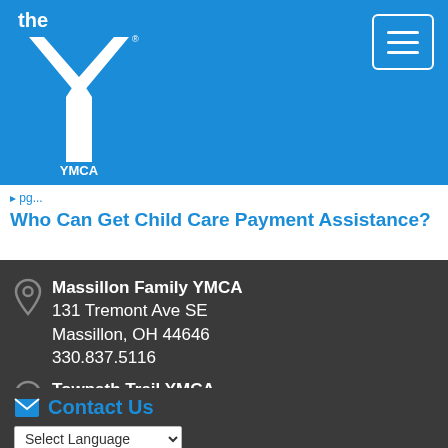[Figure (logo): YMCA logo — white Y shape with 'the' text above and 'YMCA' below on blue background, plus hamburger menu button top-right]
Who Can Get Child Care Payment Assistance?
Massillon Family YMCA
131 Tremont Ave SE
Massillon, OH 44646
330.837.5116
Towpath Trail YMCA
1226 Market St NE
Navarre, OH 44662
330.879.0800
Contact Us
Select Language